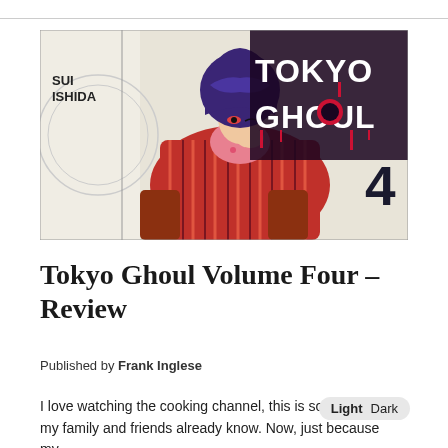[Figure (illustration): Tokyo Ghoul Volume 4 manga cover art showing a character with purple hair lounging in a red chair, wearing a colorful striped outfit, with 'SUI ISHIDA' and 'TOKYO GHOUL 4' text overlaid on a light background with circular line art.]
Tokyo Ghoul Volume Four – Review
Published by Frank Inglese
I love watching the cooking channel, this is something all my family and friends already know. Now, just because my